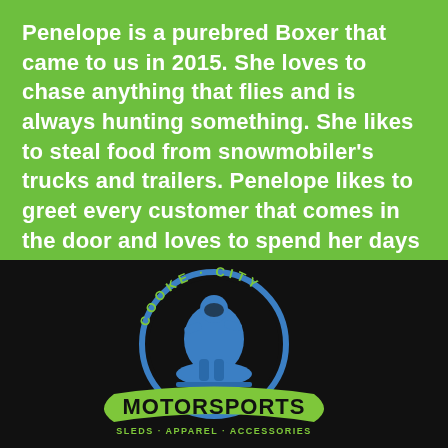Penelope is a purebred Boxer that came to us in 2015. She loves to chase anything that flies and is always hunting something. She likes to steal food from snowmobiler's trucks and trailers. Penelope likes to greet every customer that comes in the door and loves to spend her days walking and hiking.
[Figure (logo): Cooke City Motorsports logo: a circular blue badge with a snowmobiler figure and the text 'COOKE CITY' around the top, with a green swooping banner below reading 'MOTORSPORTS' in large stylized letters, and 'SLEDS · APPAREL · ACCESSORIES' in smaller text beneath, on a black background.]